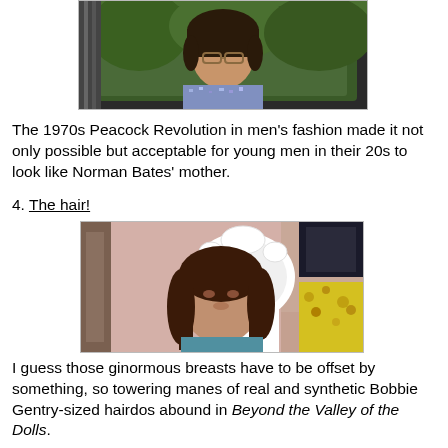[Figure (photo): A young man with dark hair and glasses sitting in a car, wearing a patterned shirt, with green trees visible in the background. 1970s era photo.]
The 1970s Peacock Revolution in men's fashion made it not only possible but acceptable for young men in their 20s to look like Norman Bates' mother.
4. The hair!
[Figure (photo): A young woman with long dark brown hair sitting in front of an ornate white chair, wearing a blue top. Colorful decor visible in the background. 1970s era photo.]
I guess those ginormous breasts have to be offset by something, so towering manes of real and synthetic Bobbie Gentry-sized hairdos abound in Beyond the Valley of the Dolls.